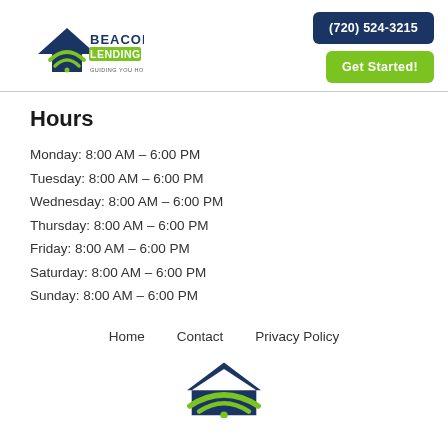[Figure (logo): Beacon Lending logo — house with wifi signal icon on left, text 'BEACON LENDING Guiding You Home' on right]
(720) 524-3215
Get Started!
Hours
Monday: 8:00 AM – 6:00 PM
Tuesday: 8:00 AM – 6:00 PM
Wednesday: 8:00 AM – 6:00 PM
Thursday: 8:00 AM – 6:00 PM
Friday: 8:00 AM – 6:00 PM
Saturday: 8:00 AM – 6:00 PM
Sunday: 8:00 AM – 6:00 PM
Home   Contact   Privacy Policy
[Figure (logo): Beacon Lending house/wifi icon — bottom of page, partial]